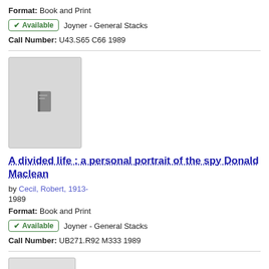Format: Book and Print
✔ Available   Joyner - General Stacks
Call Number: U43.S65 C66 1989
[Figure (illustration): Generic book cover thumbnail image with a small gray book icon on light gray background]
A divided life : a personal portrait of the spy Donald Maclean
by Cecil, Robert, 1913-
1989
Format: Book and Print
✔ Available   Joyner - General Stacks
Call Number: UB271.R92 M333 1989
[Figure (illustration): Small thumbnail of a book cover, partially visible at the bottom of the page]